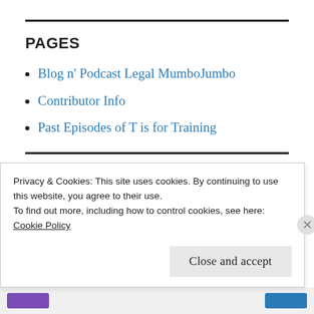PAGES
Blog n' Podcast Legal MumboJumbo
Contributor Info
Past Episodes of T is for Training
September 2009
Privacy & Cookies: This site uses cookies. By continuing to use this website, you agree to their use.
To find out more, including how to control cookies, see here:
Cookie Policy
Close and accept